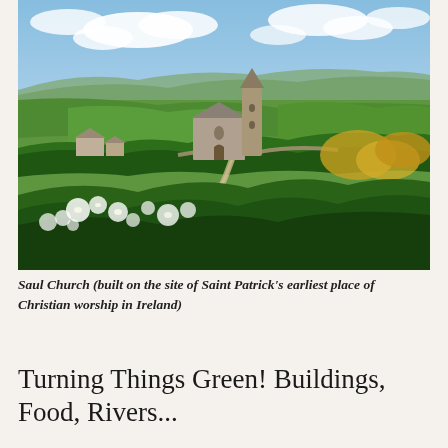[Figure (photo): Aerial landscape photograph of Saul Church, a stone church with a round tower, surrounded by lush green Irish countryside with fields, hedgerows, and a partly cloudy blue sky.]
Saul Church (built on the site of Saint Patrick's earliest place of Christian worship in Ireland)
Turning Things Green! Buildings, Food, Rivers...